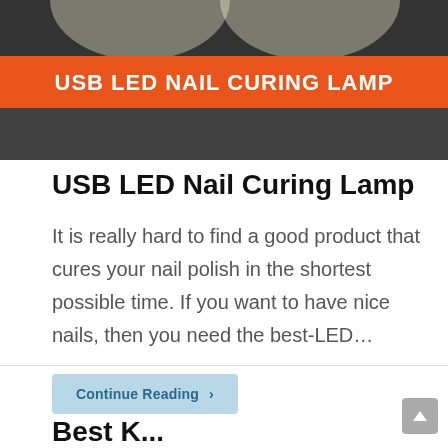[Figure (photo): Hero image of a USB LED Nail Curing Lamp with bright overhead lights on a dark background, with an orange banner overlay reading 'USB LED NAIL CURING LAMP']
USB LED Nail Curing Lamp
It is really hard to find a good product that cures your nail polish in the shortest possible time. If you want to have nice nails, then you need the best-LED…
Continue Reading ›